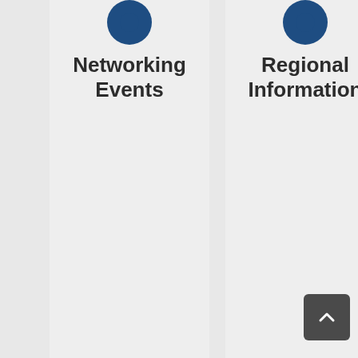[Figure (illustration): Blue circle icon at top of Networking Events column]
Networking Events
[Figure (illustration): Blue circle icon at top of Regional Information column]
Regional Information
[Figure (illustration): Dark grey rounded square back-to-top button with upward chevron arrow]